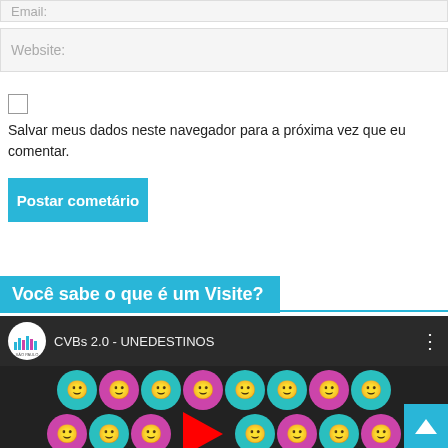Email:
Website:
Salvar meus dados neste navegador para a próxima vez que eu comentar.
Postar cometário
Você sabe o que é um Visite?
[Figure (screenshot): YouTube video thumbnail showing CVBs 2.0 - UNEDESTINOS with smiley face icons in teal and pink colors, São Paulo logo, and a YouTube play button overlay]